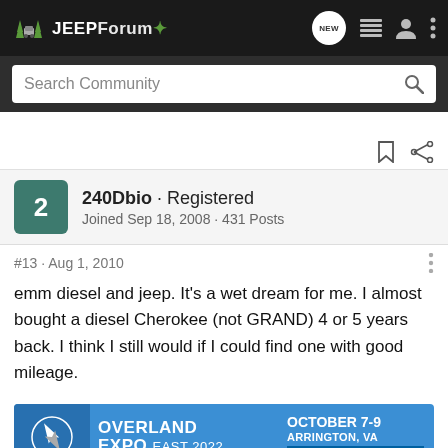JEEPForum
Search Community
240Dbio · Registered
Joined Sep 18, 2008 · 431 Posts
#13 · Aug 1, 2010
emm diesel and jeep. It's a wet dream for me. I almost bought a diesel Cherokee (not GRAND) 4 or 5 years back. I think I still would if I could find one with good mileage.
[Figure (infographic): Advertisement banner for Overland Expo East 2022, October 7-9, Arrington, VA with Plan Your Adventure button]